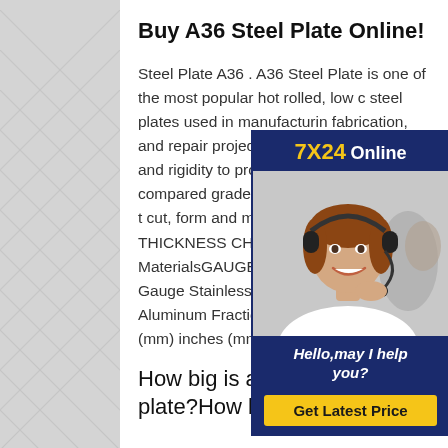Buy A36 Steel Plate Online!
Steel Plate A36 . A36 Steel Plate is one of the most popular hot rolled, low carbon steel plates used in manufacturing, fabrication, and repair projects. A plate adds strength and rigidity to a project at a lower price compared to other grades of steel plate . It is easy to weld, cut, form and machine. GAUGE TO THICKNESS CHART - Best MaterialsGAUGE TO THICKNESS CHART Gauge Stainless Galvanized Sheet Steel Aluminum Fraction inches (mm) inches (mm) inches (mm) inches (mm)
[Figure (infographic): Customer service chat widget with '7X24 Online' header in yellow and white on dark blue background, photo of a woman with headset smiling, text 'Hello,may I help you?' and a yellow 'Get Latest Price' button]
How big is a 36 inch steel plate?How big